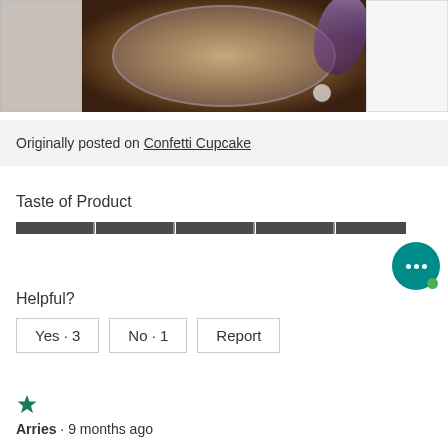[Figure (photo): Product photo showing a glass container with brownish liquid and a purple lid on a dark background, with partial images on left and right sides]
Originally posted on Confetti Cupcake
Taste of Product
[Figure (other): Rating bar for Taste of Product, showing a full dark segmented bar]
Helpful?
Yes · 3   No · 1   Report
[Figure (other): 1 star rating (teal/green star)]
Arries · 9 months ago